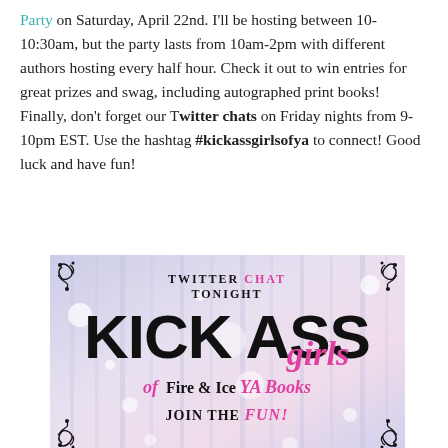Party on Saturday, April 22nd. I'll be hosting between 10-10:30am, but the party lasts from 10am-2pm with different authors hosting every half hour. Check it out to win entries for great prizes and swag, including autographed print books! Finally, don't forget our Twitter chats on Friday nights from 9-10pm EST. Use the hashtag #kickassgirlsofya to connect! Good luck and have fun!
[Figure (illustration): Promotional image for 'Kick Ass Girls of Fire & Ice YA Books' Twitter Chat Tonight event with decorative scrollwork corners on a sparkle/bokeh background. Text reads: TWITTER CHAT TONIGHT / KICK ASS / girls / of Fire & Ice YA Books / JOIN THE FUN!]